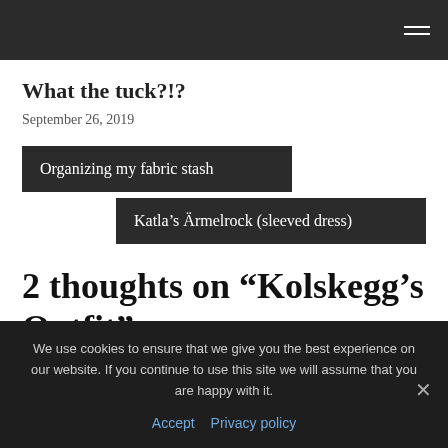What the tuck?!?
September 26, 2019
Organizing my fabric stash
Katla’s Ärmelrock (sleeved dress)
2 thoughts on “Kolskegg’s Outfit”
We use cookies to ensure that we give you the best experience on our website. If you continue to use this site we will assume that you are happy with it.
Accept   Privacy policy